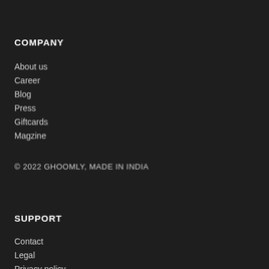COMPANY
About us
Career
Blog
Press
Giftcards
Magzine
© 2022 GHOOMLY, MADE IN INDIA
SUPPORT
Contact
Legal
Privacy policy